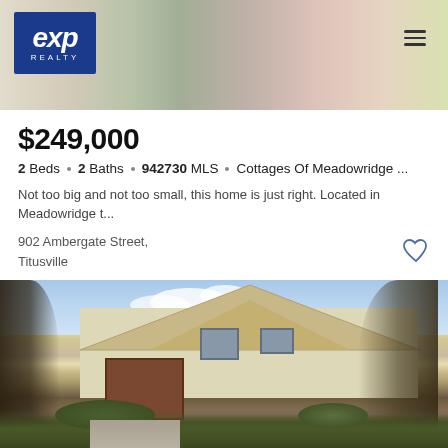[Figure (logo): eXp Realty logo - blue box with white italic eXp text and REALTY below]
$249,000
2 Beds · 2 Baths · 942730 MLS · Cottages Of Meadowridge ...
Not too big and not too small, this home is just right. Located in Meadowridge t...
902 Ambergate Street,
Titusville
Listing courtesy of Fathom Realty FL LLC.
[Figure (photo): Exterior photo of a cream/beige house with brown garage door, palm tree on left, large tree on right, green shrubs, partly cloudy sky]